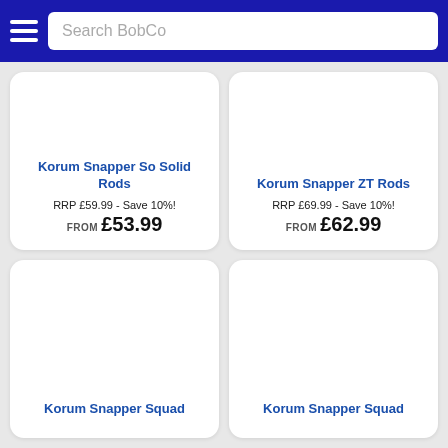Search BobCo
Korum Snapper So Solid Rods
RRP £59.99 - Save 10%! FROM £53.99
Korum Snapper ZT Rods
RRP £69.99 - Save 10%! FROM £62.99
Korum Snapper Squad
Korum Snapper Squad